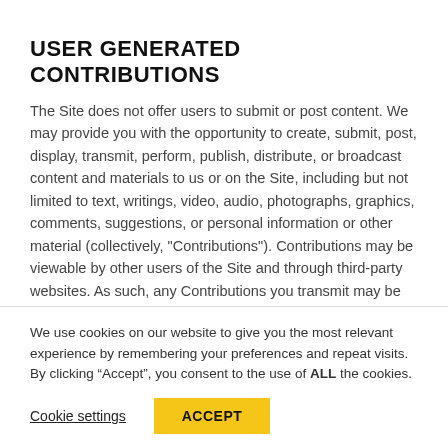USER GENERATED CONTRIBUTIONS
The Site does not offer users to submit or post content. We may provide you with the opportunity to create, submit, post, display, transmit, perform, publish, distribute, or broadcast content and materials to us or on the Site, including but not limited to text, writings, video, audio, photographs, graphics, comments, suggestions, or personal information or other material (collectively, "Contributions"). Contributions may be viewable by other users of the Site and through third-party websites. As such, any Contributions you transmit may be
We use cookies on our website to give you the most relevant experience by remembering your preferences and repeat visits. By clicking “Accept”, you consent to the use of ALL the cookies.
Cookie settings   ACCEPT